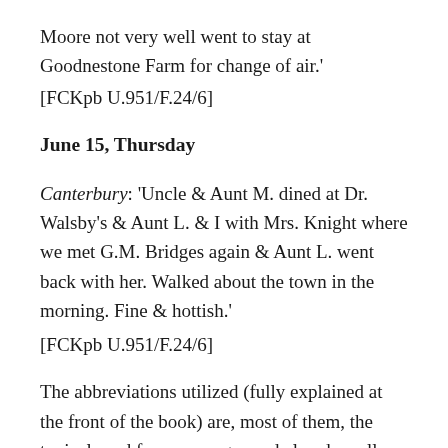Moore not very well went to stay at Goodnestone Farm for change of air.'
[FCKpb U.951/F.24/6]
June 15, Thursday
Canterbury: 'Uncle & Aunt M. dined at Dr. Walsby's & Aunt L. & I with Mrs. Knight where we met G.M. Bridges again & Aunt L. went back with her. Walked about the town in the morning. Fine & hottish.' [FCKpb U.951/F.24/6]
The abbreviations utilized (fully explained at the front of the book) are, most of them, the typical used for personages and already well known: CEA = Cassandra